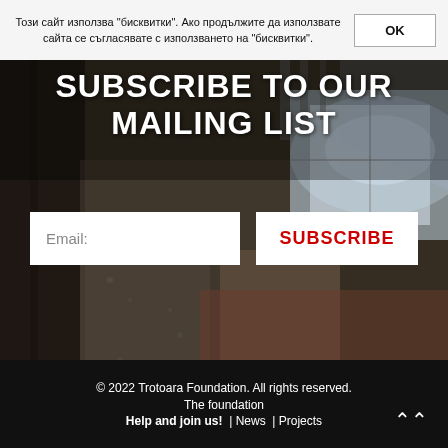Този сайт използва "бисквитки". Ако продължите да използвате сайта се съгласявате с използването на "бисквитки". OK
[Figure (photo): Dark interior of a deteriorated building with cracked concrete walls, exposed brick, and a bright window with light streaming in]
SUBSCRIBE TO OUR MAILING LIST
Email:
SUBSCRIBE
© 2022 Trotoara Foundation. All rights reserved. The foundation Help and join us! | News | Projects